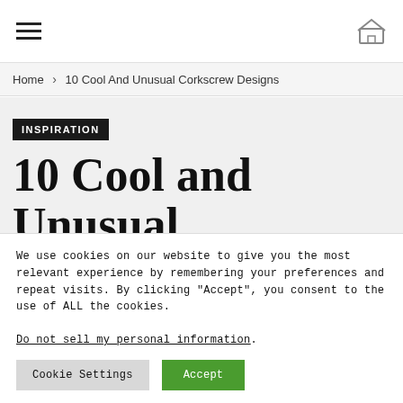Navigation bar with hamburger menu and home icon
Home > 10 Cool And Unusual Corkscrew Designs
INSPIRATION
10 Cool and Unusual Corkscrew Designs
We use cookies on our website to give you the most relevant experience by remembering your preferences and repeat visits. By clicking “Accept”, you consent to the use of ALL the cookies.
Do not sell my personal information.